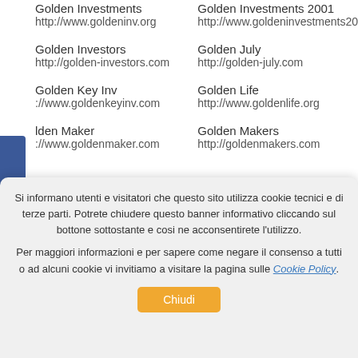Golden Investments
http://www.goldeninv.org
Golden Investments 2001
http://www.goldeninvestments200...
Golden Investors
http://golden-investors.com
Golden July
http://golden-july.com
Golden Key Inv
http://www.goldenkeyinv.com
Golden Life
http://www.goldenlife.org
Golden Maker
http://www.goldenmaker.com
Golden Makers
http://goldenmakers.com
Si informano utenti e visitatori che questo sito utilizza cookie tecnici e di terze parti. Potrete chiudere questo banner informativo cliccando sul bottone sottostante e cosi ne acconsentirete l'utilizzo.
Per maggiori informazioni e per sapere come negare il consenso a tutti o ad alcuni cookie vi invitiamo a visitare la pagina sulle Cookie Policy.
Chiudi